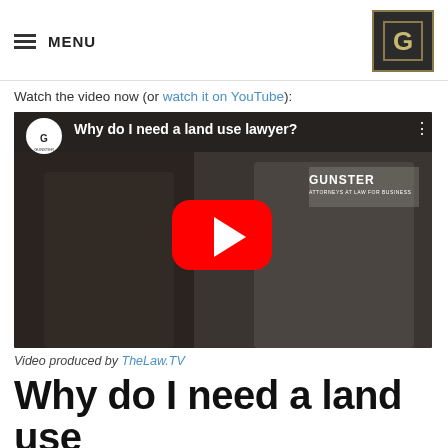MENU | Gunster logo
Watch the video now (or watch it on YouTube):
[Figure (screenshot): YouTube video thumbnail showing two lawyers — a man in a dark suit with red tie and a woman in a white blazer — in a corporate hallway with Gunster branding. Title overlay reads 'Why do I need a land use lawyer?' with a YouTube play button in the center.]
Video produced by TheLaw.TV
Why do I need a land use